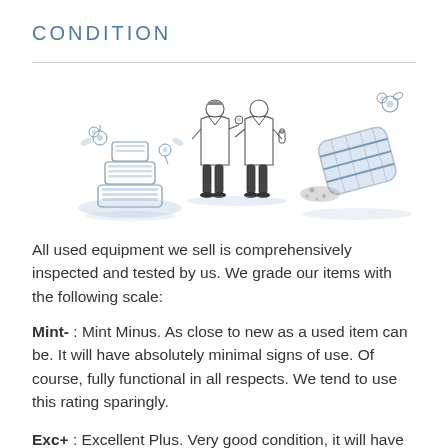CONDITION
[Figure (illustration): Three pencil-sketch illustrations: left shows a stacked tiered object with flowers, center shows two scientists/researchers in lab coats, right shows a barrel tipped on its side with flowers spilling out. All rendered in light blue-gray ink style.]
All used equipment we sell is comprehensively inspected and tested by us. We grade our items with the following scale:
Mint- : Mint Minus. As close to new as a used item can be. It will have absolutely minimal signs of use. Of course, fully functional in all respects. We tend to use this rating sparingly.
Exc+ : Excellent Plus. Very good condition, it will have seen light use and there will be some very minor cosmetic